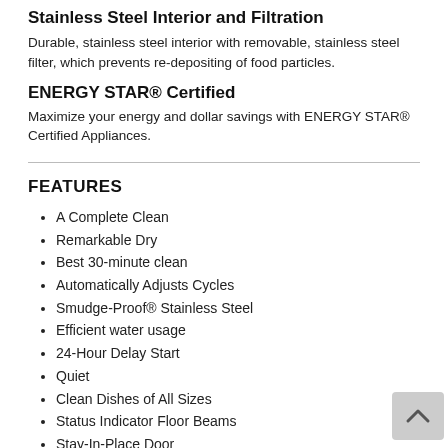Stainless Steel Interior and Filtration
Durable, stainless steel interior with removable, stainless steel filter, which prevents re-depositing of food particles.
ENERGY STAR® Certified
Maximize your energy and dollar savings with ENERGY STAR® Certified Appliances.
FEATURES
A Complete Clean
Remarkable Dry
Best 30-minute clean
Automatically Adjusts Cycles
Smudge-Proof® Stainless Steel
Efficient water usage
24-Hour Delay Start
Quiet
Clean Dishes of All Sizes
Status Indicator Floor Beams
Stay-In-Place Door